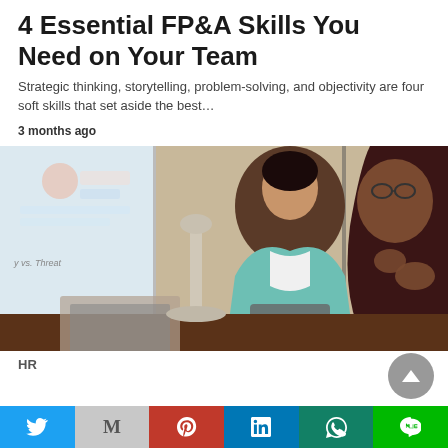4 Essential FP&A Skills You Need on Your Team
Strategic thinking, storytelling, problem-solving, and objectivity are four soft skills that set aside the best…
3 months ago
[Figure (photo): Two women in a business meeting at a conference table. One woman in a teal blazer is listening attentively with a tablet in front of her; another woman in a dark maroon top is gesturing with her hands while speaking. A whiteboard with diagrams is visible in the background.]
HR
Twitter | Gmail | Pinterest | LinkedIn | WhatsApp | LINE